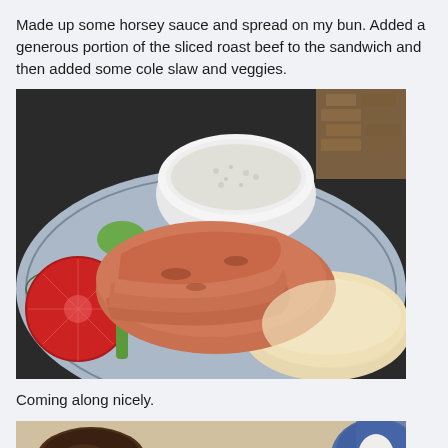Made up some horsey sauce and spread on my bun. Added a generous portion of the sliced roast beef to the sandwich and then added some cole slaw and veggies.
[Figure (photo): A plate with an open-faced sandwich loaded with sliced roast beef, a tomato slice, a white bowl of what appears to be horseradish or coleslaw, a stalk of green onion, and a bun with cream spread on it.]
Coming along nicely.
[Figure (photo): Partial view of a table with a small bowl of dark sauce (au jus), a dollop of white cream/sauce, and part of a blue plate or container visible at the right edge.]